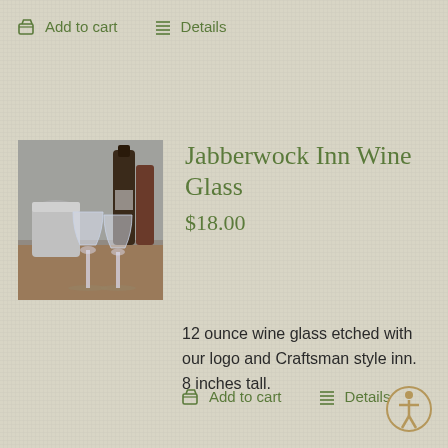Add to cart   Details
[Figure (photo): Photo of two wine glasses with wine bottles in background on a wooden table]
Jabberwock Inn Wine Glass
$18.00
12 ounce wine glass etched with our logo and Craftsman style inn.  8 inches tall.
Add to cart   Details